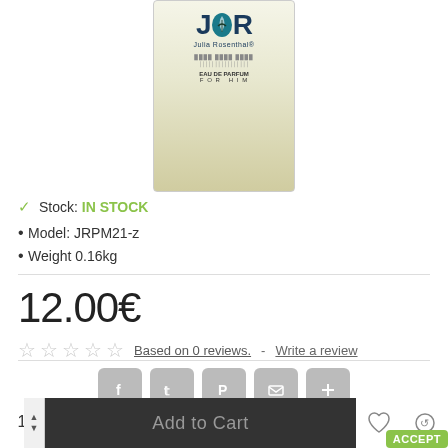[Figure (photo): Product photo of a Julia Rosenthal perfume bottle (JR logo) – glass bottle with cream/beige label showing 'JR' logo with leaf, 'Julia Rosenthal' brand name, barcode, 'EAU DE PARFUM FOR HIM' text]
Stock: IN STOCK
Model: JRPM21-z
Weight 0.16kg
12.00€
☆☆☆☆☆ Based on 0 reviews. - Write a review
[Figure (other): Social share buttons: Facebook, Twitter, Pinterest, Email, Plus]
1  Add to Cart